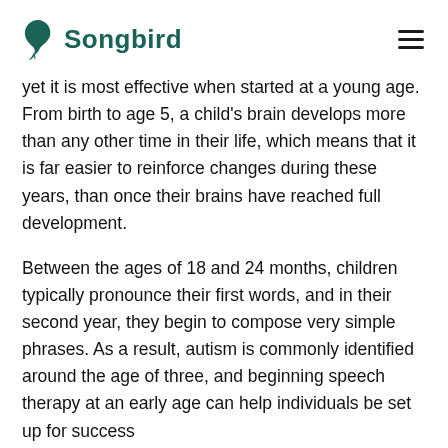Songbird
yet it is most effective when started at a young age. From birth to age 5, a child's brain develops more than any other time in their life, which means that it is far easier to reinforce changes during these years, than once their brains have reached full development.
Between the ages of 18 and 24 months, children typically pronounce their first words, and in their second year, they begin to compose very simple phrases. As a result, autism is commonly identified around the age of three, and beginning speech therapy at an early age can help individuals be set up for success